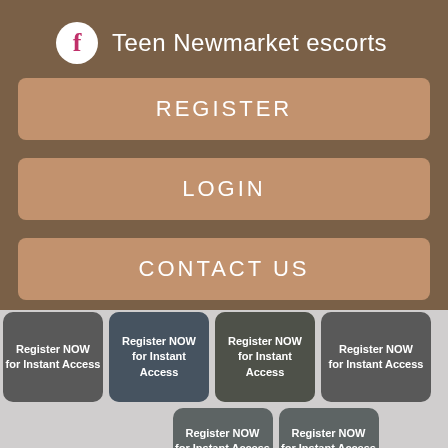Teen Newmarket escorts
REGISTER
LOGIN
CONTACT US
[Figure (screenshot): Grid of 6 thumbnail cards with text 'Register NOW for Instant Access'. Top row has 4 cells (2 dark gray, 2 with photos), bottom row has 2 dark gray cells.]